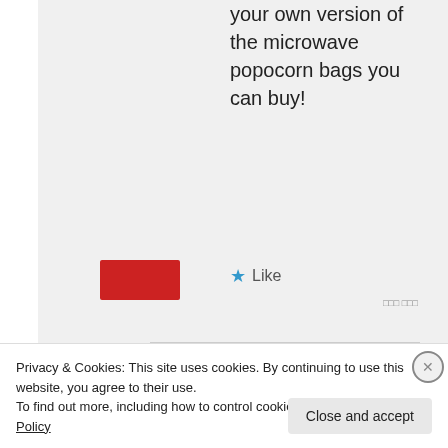your own version of the microwave popocorn bags you can buy!
★ Like
Let's CUT the
Privacy & Cookies: This site uses cookies. By continuing to use this website, you agree to their use.
To find out more, including how to control cookies, see here: Cookie Policy
Close and accept